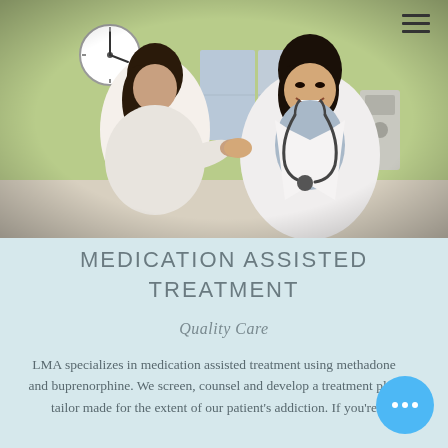[Figure (photo): A smiling female doctor in a white coat with a stethoscope places her hand on a patient's shoulder in a clinical setting with a green wall and clock in the background.]
MEDICATION ASSISTED TREATMENT
Quality Care
LMA specializes in medication assisted treatment using methadone and buprenorphine. We screen, counsel and develop a treatment plan tailor made for the extent of our patient's addiction. If you're